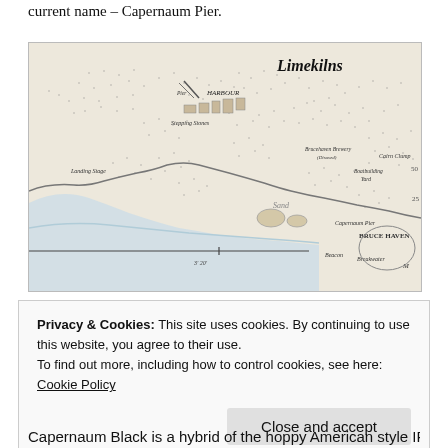current name – Capernaum Pier.
[Figure (map): Historical ordnance survey map showing Limekilns area with labeled features including Pier, Harbour, Stepping Stones, Landing Stage, Capernaum Pier, Bruce Haven, Breakwater, Beacon, Boatbuilding Yard, Brucehaven Brewery (Disused), Cairn Clump, Sand. The map shows coastline with blue water areas.]
Privacy & Cookies: This site uses cookies. By continuing to use this website, you agree to their use.
To find out more, including how to control cookies, see here: Cookie Policy
Close and accept
Capernaum Black is a hybrid of the hoppy American style IPA,